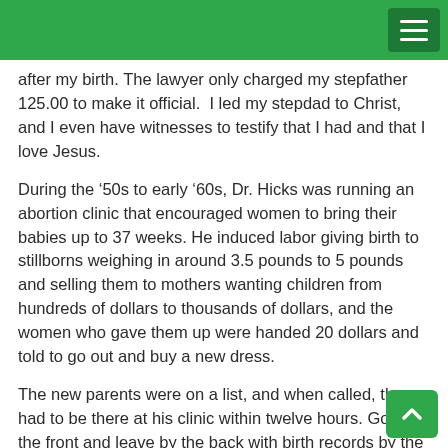after my birth. The lawyer only charged my stepfather 125.00 to make it official. I led my stepdad to Christ, and I even have witnesses to testify that I had and that I love Jesus.
During the ‘50s to early ’60s, Dr. Hicks was running an abortion clinic that encouraged women to bring their babies up to 37 weeks. He induced labor giving birth to stillborns weighing in around 3.5 pounds to 5 pounds and selling them to mothers wanting children from hundreds of dollars to thousands of dollars, and the women who gave them up were handed 20 dollars and told to go out and buy a new dress.
The new parents were on a list, and when called, they had to be there at his clinic within twelve hours. Go in the front and leave by the back with birth records by the doctor in h… These were children conceived in sin, one the Mayor’s illegitimate daughter and the Sheriff’s reproach, innocent